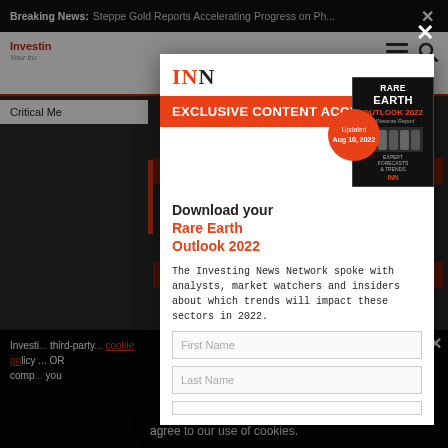Breaking News: Steppe Gold Reports Accelerating Progress on Ph...
[Figure (screenshot): Background website page for Investing News Network showing partial logo, navigation icons, and partial article heading 'Critical Me...']
EXCLUSIVE CONTENT ACCESS!
Download your Rare Earth Outlook 2022
[Figure (illustration): Book cover for Rare Earth Outlook 2022 with orange circle badge saying 'Updated Aug 10, 2022']
The Investing News Network spoke with analysts, market watchers and insiders about which trends will impact these sectors in 2022.
First Name
Last Name
Investing ... third-party ... cookie policy ... OR comp... you agree to our use of cookies.